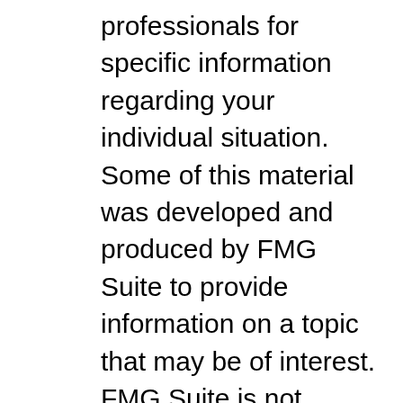professionals for specific information regarding your individual situation. Some of this material was developed and produced by FMG Suite to provide information on a topic that may be of interest. FMG Suite is not affiliated with the named representative, broker dealer, state or SEC registered investment advisory firm. The opinions expressed and material provided are for general information, and